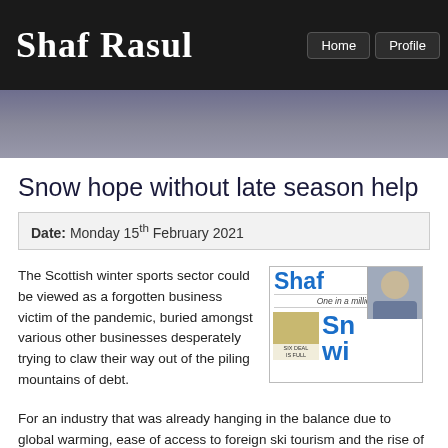Shaf Rasul
Home  Profile
Snow hope without late season help
Date: Monday 15th February 2021
The Scottish winter sports sector could be viewed as a forgotten business victim of the pandemic, buried amongst various other businesses desperately trying to claw their way out of the piling mountains of debt.
[Figure (screenshot): Newspaper clipping showing 'Shaf' in blue bold text, a photo of a man in a suit, 'One in a million' subheading, a food image thumbnail with 'Six deal is full' caption, and partial headline starting with 'Sn wi']
For an industry that was already hanging in the balance due to global warming, ease of access to foreign ski tourism and the rise of interest in major global winter